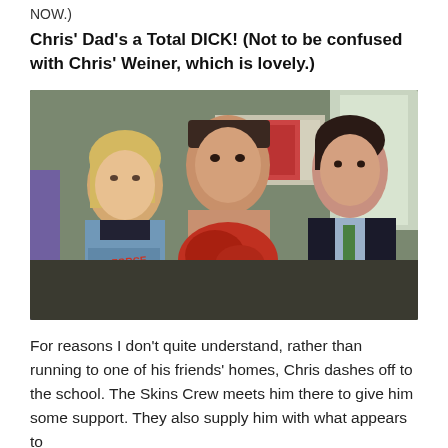NOW.)
Chris' Dad's a Total DICK!  (Not to be confused with Chris' Weiner, which is lovely.)
[Figure (photo): Scene from a TV show (Skins) showing three young people in a room: a blonde person in an Air Force t-shirt on the left, a shirtless young man in the center holding red clothing, and a dark-haired young man in a suit on the right.]
For reasons I don't quite understand, rather than running to one of his friends' homes, Chris dashes off to the school.  The Skins Crew meets him there to give him some support.  They also supply him with what appears to